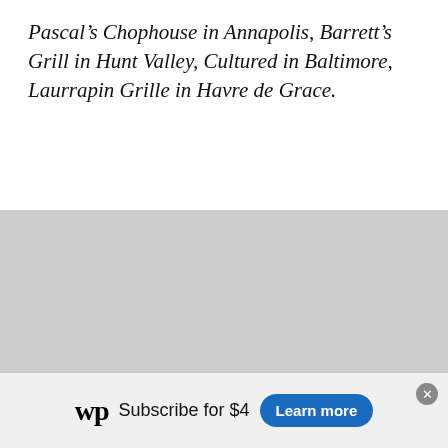Pascal’s Chophouse in Annapolis, Barrett’s Grill in Hunt Valley, Cultured in Baltimore, Laurrapin Grille in Havre de Grace.
[Figure (photo): A large gray placeholder image occupying the middle and lower portion of the page.]
wp Subscribe for $4  Learn more